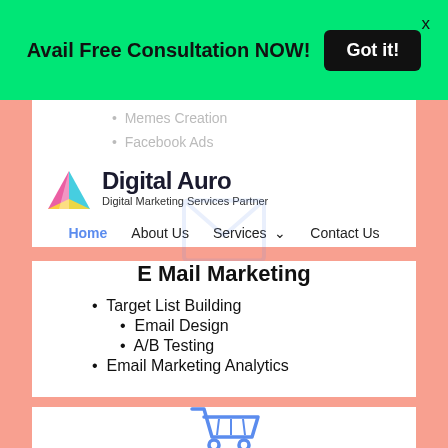Avail Free Consultation NOW! Got it! X
Memes Creation
Facebook Ads
[Figure (logo): Digital Auro logo: colorful triangle icon with pink, teal, and yellow segments, next to brand name Digital Auro and tagline Digital Marketing Services Partner]
Home   About Us   Services ▾   Contact Us
[Figure (illustration): Faint envelope/email icon in the background of the navigation area]
E Mail Marketing
Target List Building
Email Design
A/B Testing
Email Marketing Analytics
[Figure (illustration): Shopping cart icon partially visible at bottom of page]